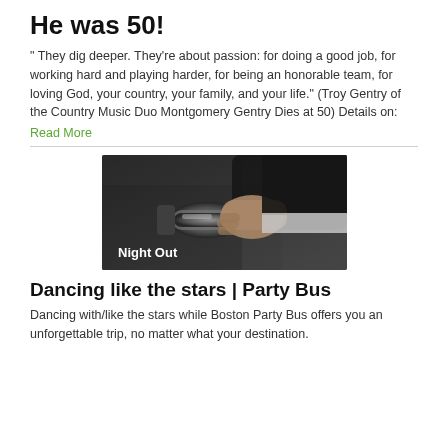He was 50!
" They dig deeper. They’re about passion: for doing a good job, for working hard and playing harder, for being an honorable team, for loving God, your country, your family, and your life." (Troy Gentry of the Country Music Duo Montgomery Gentry Dies at 50)   Details on:
Read More
[Figure (photo): A hand in a suit jacket sleeve gripping a car door handle, with the text 'Night Out' overlaid in white on the lower left of the image.]
Dancing like the stars | Party Bus
Dancing with/like the stars while Boston Party Bus offers you an unforgettable trip, no matter what your destination.